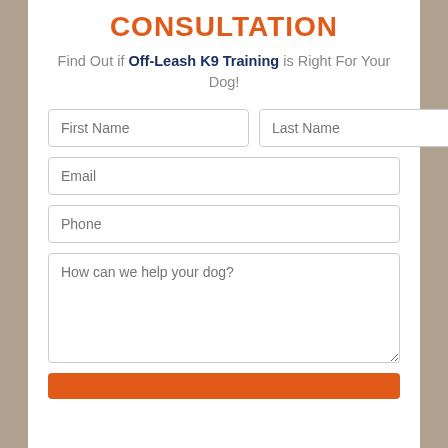CONSULTATION
Find Out if Off-Leash K9 Training is Right For Your Dog!
[Figure (other): Web form with fields: First Name, Last Name, Email, Phone, How can we help your dog?, and a submit button]